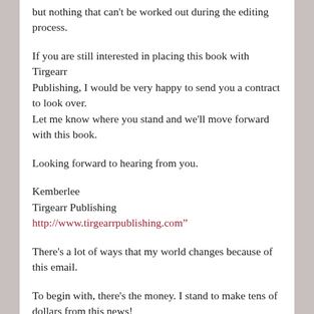but nothing that can't be worked out during the editing process.
If you are still interested in placing this book with Tirgearr Publishing, I would be very happy to send you a contract to look over.
Let me know where you stand and we'll move forward with this book.
Looking forward to hearing from you.
Kemberlee
Tirgearr Publishing
http://www.tirgearrpublishing.com"
There's a lot of ways that my world changes because of this email.
To begin with, there's the money. I stand to make tens of dollars from this news!